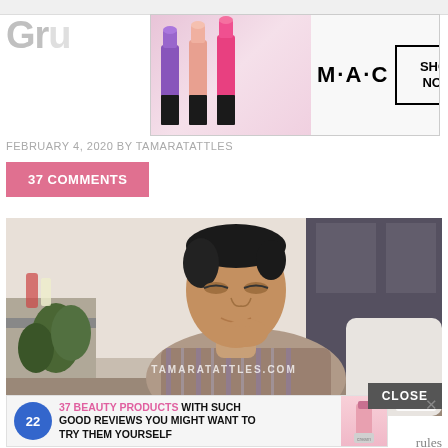Gr…
[Figure (photo): MAC Cosmetics advertisement banner with lipsticks in purple, pink, and red colors; MAC logo center; SHOP NOW box on right]
FEBRUARY 4, 2020 BY TAMARATATTLES
37 COMMENTS
[Figure (photo): Man in striped shirt sitting and thinking with hand on chin, bathroom/bedroom setting, watermark 'TAMARATATTLES.COM', Bravo logo bottom right]
As luck would have it Chrome froze up and then crashed compli… …rules recap. … …ough for me …ne
CLOSE
[Figure (infographic): 22 Words advertisement: '37 BEAUTY PRODUCTS WITH SUCH GOOD REVIEWS YOU MIGHT WANT TO TRY THEM YOURSELF' with circular blue badge and product image]